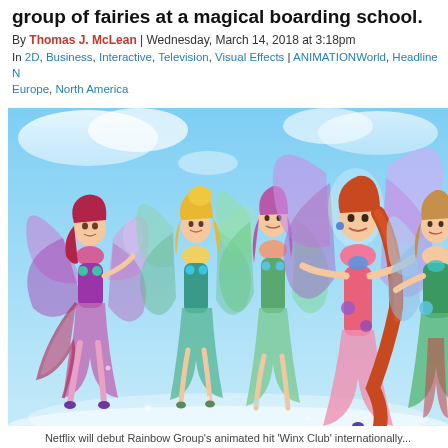group of fairies at a magical boarding school.
By Thomas J. McLean | Wednesday, March 14, 2018 at 3:18pm
In 2D, Business, Interactive, Television, Visual Effects | ANIMATIONWorld, Headline E Europe, North America
[Figure (illustration): Animated illustration of five fairy characters with colorful wings and outfits, flying against a blue sky background. Characters include fairies in purple, green, pink, and teal costumes with large decorated wings.]
Netflix will debut Rainbow Group's animated hit 'Winx Club' internationally...